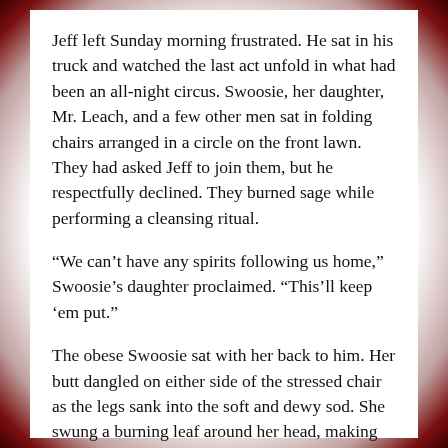Jeff left Sunday morning frustrated. He sat in his truck and watched the last act unfold in what had been an all-night circus. Swoosie, her daughter, Mr. Leach, and a few other men sat in folding chairs arranged in a circle on the front lawn. They had asked Jeff to join them, but he respectfully declined. They burned sage while performing a cleansing ritual.
“We can’t have any spirits following us home,” Swoosie’s daughter proclaimed. “This’ll keep ‘em put.”
The obese Swoosie sat with her back to him. Her butt dangled on either side of the stressed chair as the legs sank into the soft and dewy sod. She swung a burning leaf around her head, making her resemble an elephant trying to douse the flames of a burning tree.